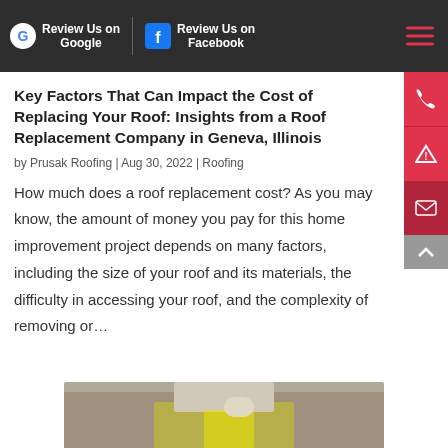Review Us on Google | Review Us on Facebook
Key Factors That Can Impact the Cost of Replacing Your Roof: Insights from a Roof Replacement Company in Geneva, Illinois
by Prusak Roofing | Aug 30, 2022 | Roofing
How much does a roof replacement cost? As you may know, the amount of money you pay for this home improvement project depends on many factors, including the size of your roof and its materials, the difficulty in accessing your roof, and the complexity of removing or...
[Figure (photo): Workers on a roof, partially visible at bottom of page]